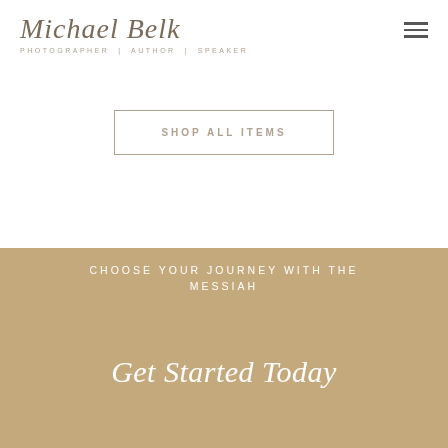[Figure (logo): Michael Belk script logo with tagline: Photographer | Author | Speaker]
[Figure (other): Hamburger menu icon with three horizontal lines]
SHOP ALL ITEMS
CHOOSE YOUR JOURNEY WITH THE MESSIAH
Get Started Today